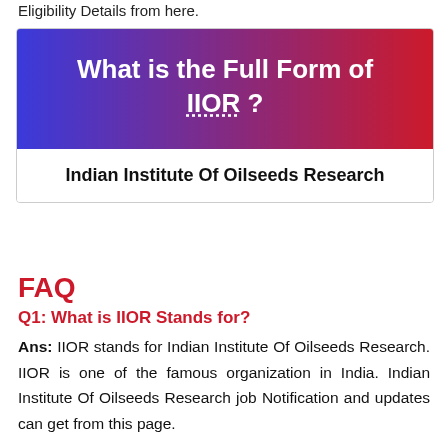Eligibility Details from here.
[Figure (infographic): Banner with gradient background (blue to red) displaying 'What is the Full Form of IIOR ?' in white bold text, with a white section below showing 'Indian Institute Of Oilseeds Research' in bold black text.]
FAQ
Q1: What is IIOR Stands for?
Ans: IIOR stands for Indian Institute Of Oilseeds Research. IIOR is one of the famous organization in India. Indian Institute Of Oilseeds Research job Notification and updates can get from this page.